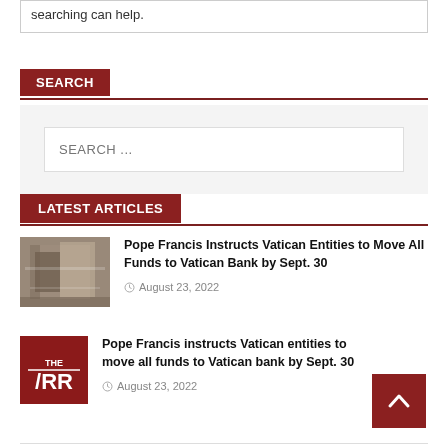searching can help.
SEARCH
SEARCH ...
LATEST ARTICLES
[Figure (photo): Thumbnail image of a building with scaffolding]
Pope Francis Instructs Vatican Entities to Move All Funds to Vatican Bank by Sept. 30
August 23, 2022
[Figure (logo): Red and white news publication logo with /RR text]
Pope Francis instructs Vatican entities to move all funds to Vatican bank by Sept. 30
August 23, 2022